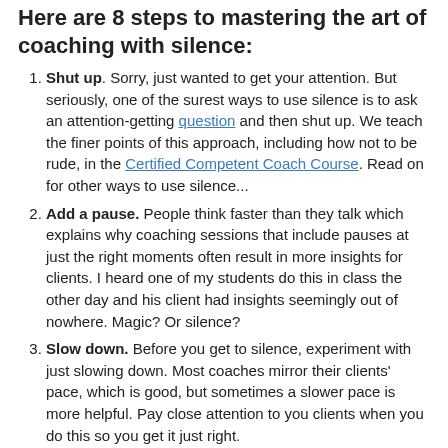Here are 8 steps to mastering the art of coaching with silence:
Shut up. Sorry, just wanted to get your attention. But seriously, one of the surest ways to use silence is to ask an attention-getting question and then shut up. We teach the finer points of this approach, including how not to be rude, in the Certified Competent Coach Course. Read on for other ways to use silence...
Add a pause. People think faster than they talk which explains why coaching sessions that include pauses at just the right moments often result in more insights for clients. I heard one of my students do this in class the other day and his client had insights seemingly out of nowhere. Magic? Or silence?
Slow down. Before you get to silence, experiment with just slowing down. Most coaches mirror their clients' pace, which is good, but sometimes a slower pace is more helpful. Pay close attention to you clients when you do this so you get it just right.
Acknowledge first. An acknowledgment followed by a pause can be more effective than the most powerful question. Theoretically, a coach who's mastered acknowledgment and silence might never need to ask any questions!
Appreciate. When your relationship with the client is really solid,